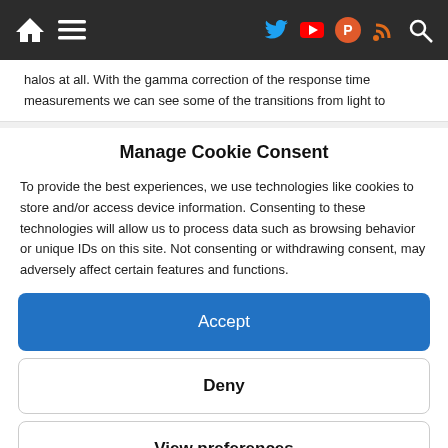Navigation bar with home, menu, Twitter, YouTube, Product, RSS, Search icons
halos at all. With the gamma correction of the response time measurements we can see some of the transitions from light to
Manage Cookie Consent
To provide the best experiences, we use technologies like cookies to store and/or access device information. Consenting to these technologies will allow us to process data such as browsing behavior or unique IDs on this site. Not consenting or withdrawing consent, may adversely affect certain features and functions.
Accept
Deny
View preferences
Cookie Policy   Privacy Policy and Cookies